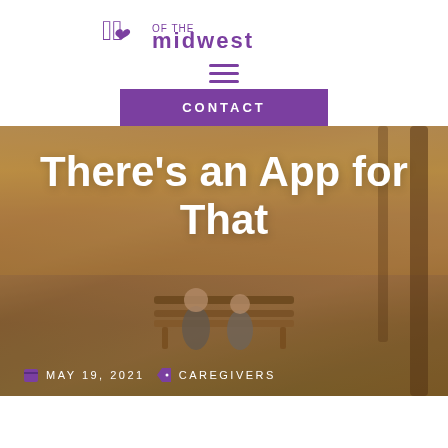[Figure (logo): Cursive/script logo text with heart icon followed by 'of the midwest' in bold purple serif/sans text]
[Figure (other): Purple hamburger menu icon with three horizontal lines]
CONTACT
[Figure (photo): Two elderly people sitting on a bench in an autumn park, viewed from behind, with warm orange and brown foliage in the background]
There’s an App for That
MAY 19, 2021    CAREGIVERS